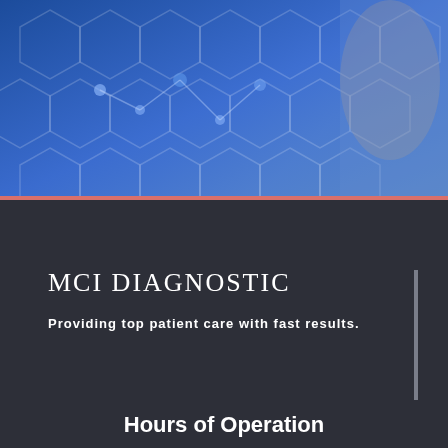[Figure (illustration): Blue-tinted hero image with hexagonal pattern overlay and scientist/laboratory background]
MCI DIAGNOSTIC
Providing top patient care with fast results.
Hours of Operation